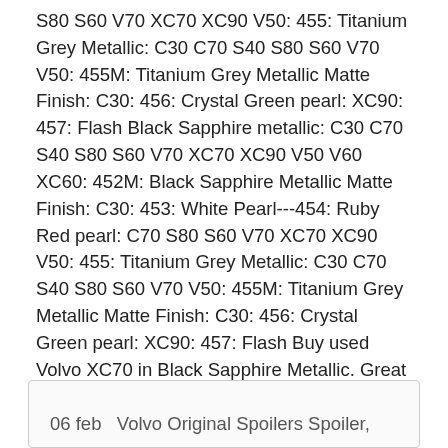S80 S60 V70 XC70 XC90 V50: 455: Titanium Grey Metallic: C30 C70 S40 S80 S60 V70 V50: 455M: Titanium Grey Metallic Matte Finish: C30: 456: Crystal Green pearl: XC90: 457: Flash Black Sapphire metallic: C30 C70 S40 S80 S60 V70 XC70 XC90 V50 V60 XC60: 452M: Black Sapphire Metallic Matte Finish: C30: 453: White Pearl---454: Ruby Red pearl: C70 S80 S60 V70 XC70 XC90 V50: 455: Titanium Grey Metallic: C30 C70 S40 S80 S60 V70 V50: 455M: Titanium Grey Metallic Matte Finish: C30: 456: Crystal Green pearl: XC90: 457: Flash Buy used Volvo XC70 in Black Sapphire Metallic. Great deals and prices of XC70 in Black color for sale - find the best car near you.
06 feb  Volvo Original Spoilers Spoiler,